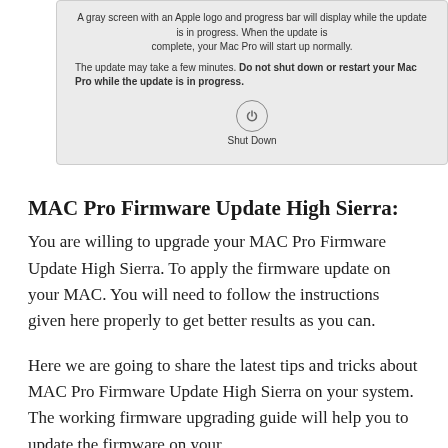[Figure (screenshot): A macOS dialog box on a gray background showing update progress instructions and a Shut Down button with a power icon.]
MAC Pro Firmware Update High Sierra:
You are willing to upgrade your MAC Pro Firmware Update High Sierra. To apply the firmware update on your MAC. You will need to follow the instructions given here properly to get better results as you can.
Here we are going to share the latest tips and tricks about MAC Pro Firmware Update High Sierra on your system. The working firmware upgrading guide will help you to update the firmware on your